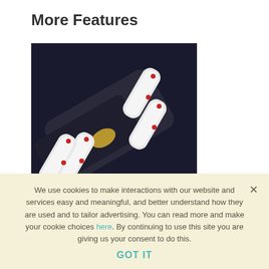More Features
[Figure (photo): Product photo of a flashlight with four removable 18650 Li-ion batteries shown next to it, against a dark background.]
Removable Batteries for Maximized Runtime
The CRANE 2S is outfitted with 3 removable 18650 Li-ion batteries which offer up to 12 hours of runtime
We use cookies to make interactions with our website and services easy and meaningful, and better understand how they are used and to tailor advertising. You can read more and make your cookie choices here. By continuing to use this site you are giving us your consent to do this. GOT IT